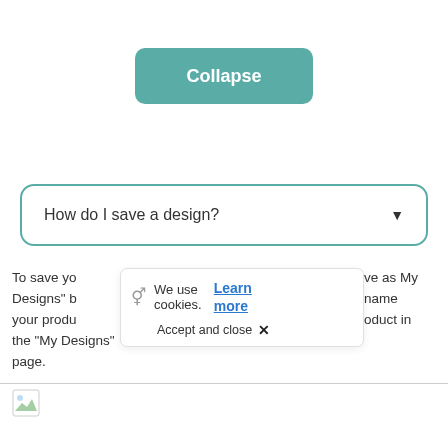[Figure (screenshot): Teal rounded button labeled 'Collapse']
[Figure (screenshot): FAQ accordion item with question 'How do I save a design?' and a dropdown arrow, inside a teal-bordered rounded box]
To save yo Designs" b your produ the "My Designs" page.
[Figure (screenshot): Cookie consent overlay with cookie icon, 'We use cookies.' text, 'Learn more' link, and 'Accept and close X' button]
ve as My name oduct in
[Figure (screenshot): Bottom image placeholder row with small icon]